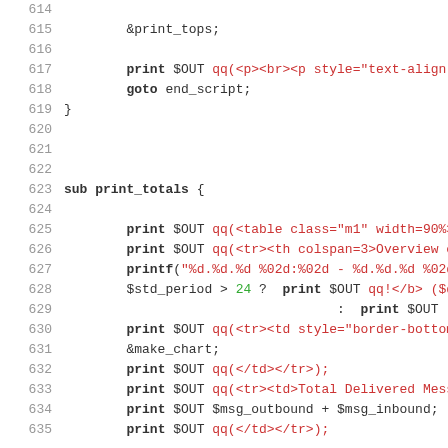614-635: Perl source code listing
614: (empty line)
615:         &print_tops;
616: (empty line)
617:         print $OUT qq(<p><br><p style="text-align:righ
618:         goto end_script;
619: }
620: (empty line)
621: (empty line)
622: (empty line)
623: sub print_totals {
624: (empty line)
625:         print $OUT qq(<table class="m1" width=90%>);
626:         print $OUT qq(<tr><th colspan=3>Overview of Pe
627:         printf("%d.%d.%d %02d:%02d - %d.%d.%d %02d:%02
628:         $std_period > 24 ?  print $OUT qq!</b> ($day_p
629:                                    :  print $OUT
630:         print $OUT qq(<tr><td style="border-bottom-wid
631:         &make_chart;
632:         print $OUT qq(</td></tr>);
633:         print $OUT qq(<tr><td>Total Delivered Messages
634:         print $OUT $msg_outbound + $msg_inbound;
635:         print $OUT qq(</td></tr>);